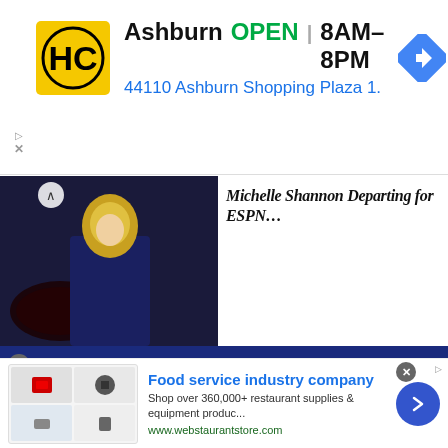[Figure (screenshot): Top advertisement banner for HC (Home Depot style) showing Ashburn location, OPEN, 8AM-8PM hours, address 44110 Ashburn Shopping Plaza 1., with navigation icon]
[Figure (screenshot): Partial article thumbnail showing a person (blonde woman) and headline text partially visible: appears to be about Michelle Shannon departing for ESPN or similar]
[Figure (logo): Barrett Media logo: BSM in white block letters, BARRETT MEDIA in white/red text, BNM in large red letters, on dark navy blue background]
[Figure (screenshot): Bottom advertisement for Food service industry company: webstaurantstore.com, shop over 360,000+ restaurant supplies & equipment products, with product images and blue arrow button]